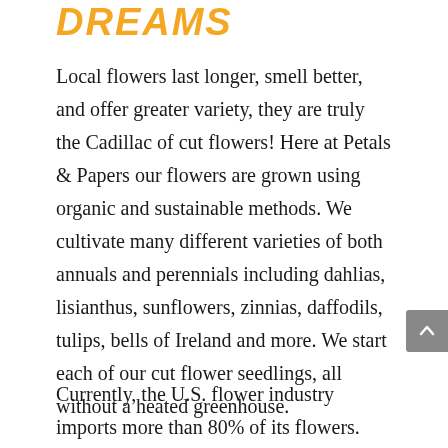DREAMS
Local flowers last longer, smell better, and offer greater variety, they are truly the Cadillac of cut flowers! Here at Petals & Papers our flowers are grown using organic and sustainable methods. We cultivate many different varieties of both annuals and perennials including dahlias, lisianthus, sunflowers, zinnias, daffodils, tulips, bells of Ireland and more. We start each of our cut flower seedlings, all without a heated greenhouse.
Currently, the U.S. flower industry imports more than 80% of its flowers. These flowers